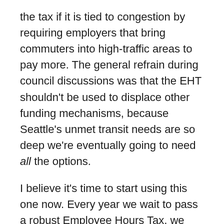the tax if it is tied to congestion by requiring employers that bring commuters into high-traffic areas to pay more. The general refrain during council discussions was that the EHT shouldn't be used to displace other funding mechanisms, because Seattle's unmet transit needs are so deep we're eventually going to need all the options.
I believe it's time to start using this one now. Every year we wait to pass a robust Employee Hours Tax, we lose millions of dollars in progressive revenue that could be building the world-class transit system Seattle so desperately needs. So let's pass an EHT and, while we're at it, let's make it good. Here are some initial thoughts on what that means.
A Robust Employee Hours Tax